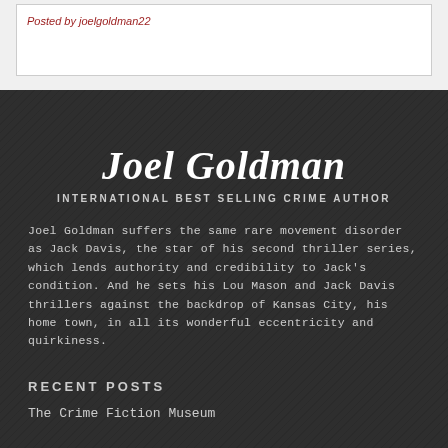Posted by joelgoldman22
Joel Goldman
INTERNATIONAL BEST SELLING CRIME AUTHOR
Joel Goldman suffers the same rare movement disorder as Jack Davis, the star of his second thriller series, which lends authority and credibility to Jack's condition. And he sets his Lou Mason and Jack Davis thrillers against the backdrop of Kansas City, his home town, in all its wonderful eccentricity and quirkiness.
RECENT POSTS
The Crime Fiction Museum